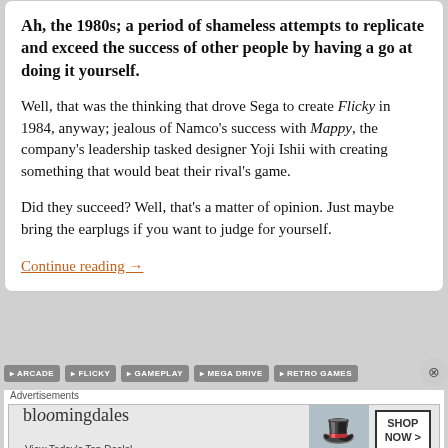Ah, the 1980s; a period of shameless attempts to replicate and exceed the success of other people by having a go at doing it yourself.
Well, that was the thinking that drove Sega to create Flicky in 1984, anyway; jealous of Namco's success with Mappy, the company's leadership tasked designer Yoji Ishii with creating something that would beat their rival's game.
Did they succeed? Well, that's a matter of opinion. Just maybe bring the earplugs if you want to judge for yourself.
Continue reading →
ARCADE  FLICKY  GAMEPLAY  MEGA DRIVE  RETRO GAMES
Advertisements  bloomingdales  View Today's Top Deals!  SHOP NOW >